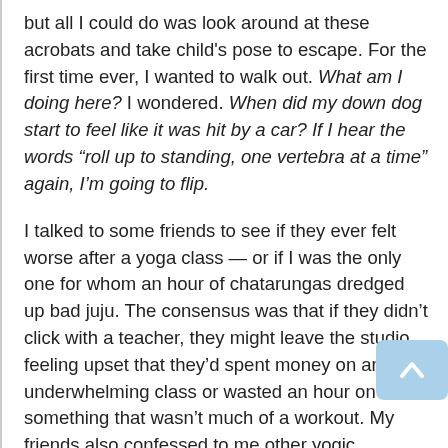but all I could do was look around at these acrobats and take child's pose to escape. For the first time ever, I wanted to walk out. What am I doing here? I wondered. When did my down dog start to feel like it was hit by a car? If I hear the words “roll up to standing, one vertebra at a time” again, I’m going to flip.
I talked to some friends to see if they ever felt worse after a yoga class — or if I was the only one for whom an hour of chatarungas dredged up bad juju. The consensus was that if they didn’t click with a teacher, they might leave the studio feeling upset that they’d spent money on an underwhelming class or wasted an hour on something that wasn’t much of a workout. My friends also confessed to me other yogic annoyances, such as practicing next to a loud breather or, a favorite of mine, a teacher who